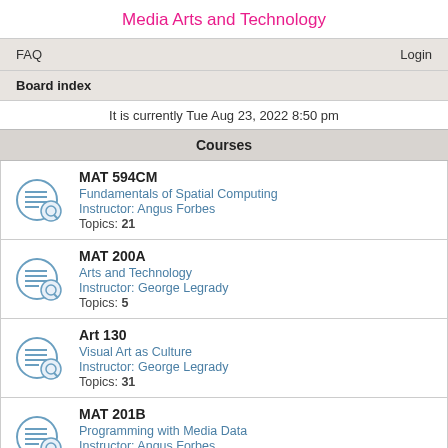Media Arts and Technology
FAQ      Login
Board index
It is currently Tue Aug 23, 2022 8:50 pm
Courses
MAT 594CM
Fundamentals of Spatial Computing
Instructor: Angus Forbes
Topics: 21
MAT 200A
Arts and Technology
Instructor: George Legrady
Topics: 5
Art 130
Visual Art as Culture
Instructor: George Legrady
Topics: 31
MAT 201B
Programming with Media Data
Instructor: Angus Forbes
Topics: 25
MAT 259